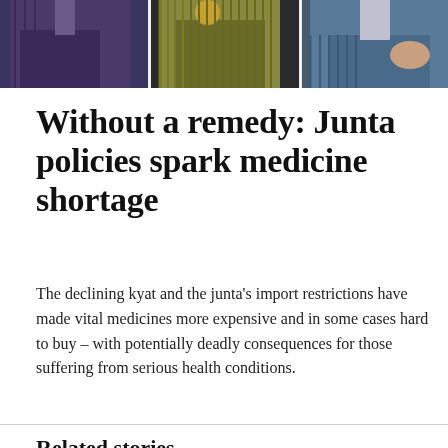[Figure (photo): Photograph of people, partially cropped at top of page showing clothing and hands]
Without a remedy: Junta policies spark medicine shortage
The declining kyat and the junta’s import restrictions have made vital medicines more expensive and in some cases hard to buy – with potentially deadly consequences for those suffering from serious health conditions.
Related stories
[Figure (screenshot): Screenshot of a website called MEGAPRO showing navigation bar with Home, Ecosystem, Blogs links and a Login button, with a night cityscape image below]